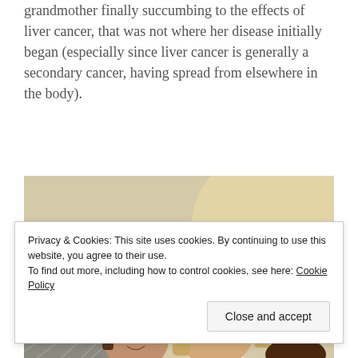grandmother finally succumbing to the effects of liver cancer, that was not where her disease initially began (especially since liver cancer is generally a secondary cancer, having spread from elsewhere in the body).
[Figure (photo): A woman with blonde hair sitting on a couch with two young children beside her, appearing to be indoors.]
Privacy & Cookies: This site uses cookies. By continuing to use this website, you agree to their use. To find out more, including how to control cookies, see here: Cookie Policy